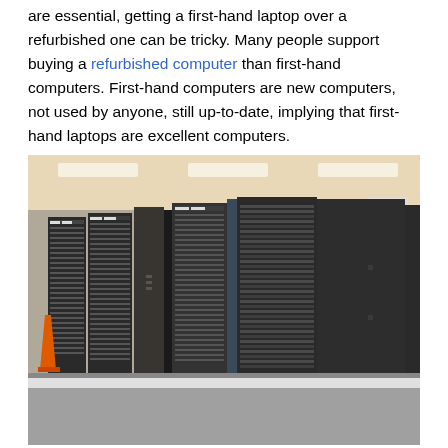are essential, getting a first-hand laptop over a refurbished one can be tricky. Many people support buying a refurbished computer than first-hand computers. First-hand computers are new computers, not used by anyone, still up-to-date, implying that first-hand laptops are excellent computers.
[Figure (photo): A data center or server room with multiple large black server rack cabinets arranged in a row on a raised white floor. An orange traffic cone is visible on the left side. The room has fluorescent ceiling lights.]